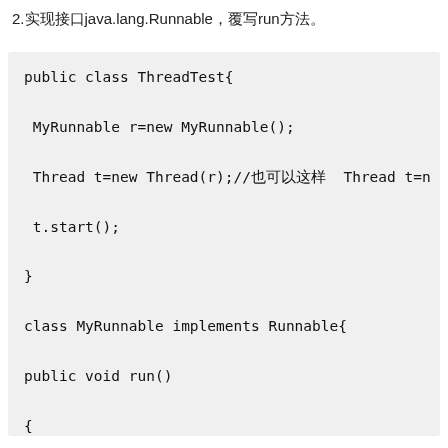2.实现接口java.lang.Runnable，覆写run方法。
[Figure (screenshot): Java code block showing a ThreadTest class and MyRunnable class implementing Runnable interface with a run() method. Code includes: public class ThreadTest{ MyRunnable r=new MyRunnable(); Thread t=new Thread(r);//也可以这样 Thread t=n... t.start(); } class MyRunnable implements Runnable{ public void run() { } }]